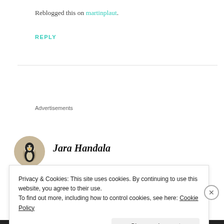Reblogged this on martinplaut.
REPLY
[Figure (infographic): Advertisements progress bar with purple, green, and orange segments]
Jara Handala
FEBRUARY 8, 2014 AT 11:10 AM
Privacy & Cookies: This site uses cookies. By continuing to use this website, you agree to their use.
To find out more, including how to control cookies, see here: Cookie Policy
Close and accept